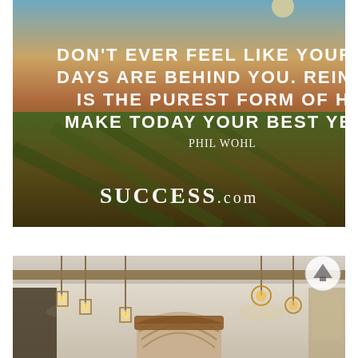[Figure (photo): Vineyard at sunset with motivational quote overlay: 'DON'T EVER FEEL LIKE YOUR BEST DAYS ARE BEHIND YOU. REINVENTION IS THE PUREST FORM OF HOPE. MAKE TODAY YOUR BEST YET. — PHIL WOHL' and SUCCESS.com logo at bottom center]
[Figure (photo): Interior kitchen photo with hanging pendant lights, brick arched range hood, wooden beam ceiling, and an up-arrow circle button in top right corner]